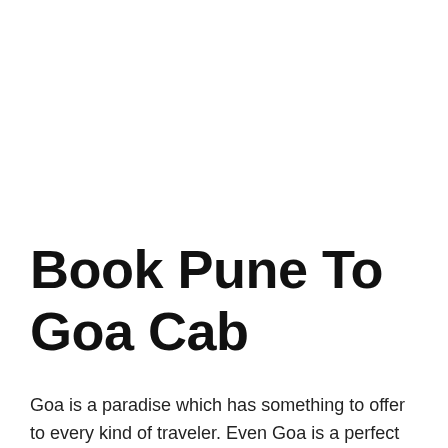Book Pune To Goa Cab
Goa is a paradise which has something to offer to every kind of traveler. Even Goa is a perfect blend of Indian and Portuguese